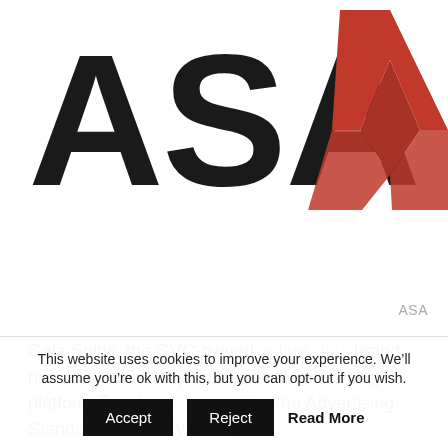[Figure (logo): ASA logo with large black letters ASA and a red angular W/chevron symbol to the right]
ASA
Gala Spins, the GVC-owned online slots brand, has had a paid-for post on social networking platform Facebook, banned by the Advertising Standards Authority (ASA).
The Facebook ad in question which ran on the 12th of August included the caption “IT’S A ROLLERCOASTER OF
This website uses cookies to improve your experience. We’ll assume you’re ok with this, but you can opt-out if you wish.